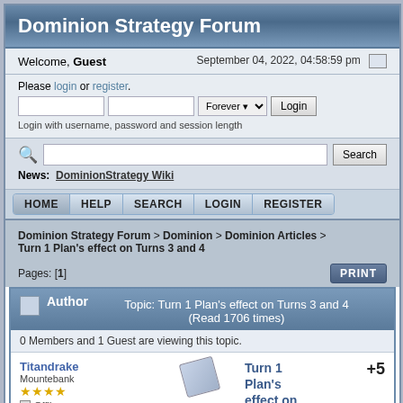Dominion Strategy Forum
Welcome, Guest	September 04, 2022, 04:58:59 pm
Please login or register.
Login with username, password and session length
Search
News: DominionStrategy Wiki
HOME  HELP  SEARCH  LOGIN  REGISTER
Dominion Strategy Forum > Dominion > Dominion Articles > Turn 1 Plan's effect on Turns 3 and 4
Pages: [1]
| Author | Topic |
| --- | --- |
| Titandrake
Mountebank
★★★★
Offline | Turn 1 Plan's effect on Turns 3 and 4
+5 |
0 Members and 1 Guest are viewing this topic.